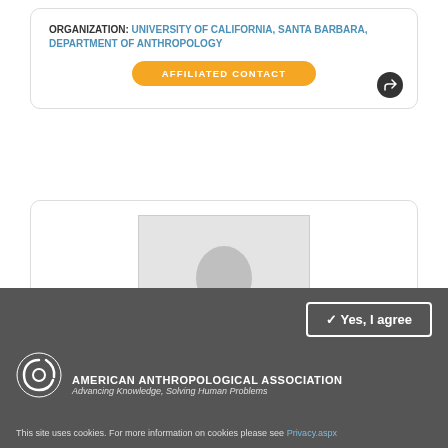ORGANIZATION:  UNIVERSITY OF CALIFORNIA, SANTA BARBARA, DEPARTMENT OF ANTHROPOLOGY
AFFILIATED CONTACT
[Figure (photo): Generic placeholder silhouette profile photo in gray tones]
Yes, I agree
[Figure (logo): American Anthropological Association swirl logo in white]
AMERICAN ANTHROPOLOGICAL ASSOCIATION Advancing Knowledge, Solving Human Problems
This site uses cookies. For more information on cookies please see Privacy.aspx